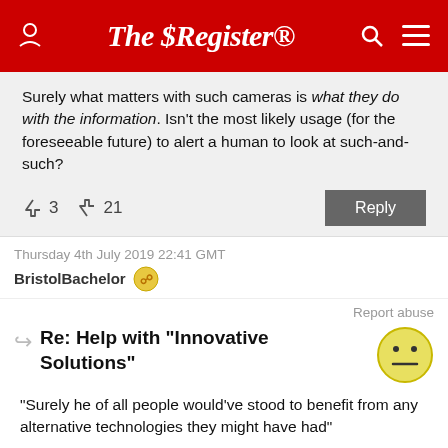The Register
Surely what matters with such cameras is what they do with the information. Isn't the most likely usage (for the foreseeable future) to alert a human to look at such-and-such?
↑3  ↓21   Reply
Thursday 4th July 2019 22:41 GMT
BristolBachelor
Report abuse
Re: Help with "Innovative Solutions"
"Surely he of all people would've stood to benefit from any alternative technologies they might have had"
My reading is that with this technology, they